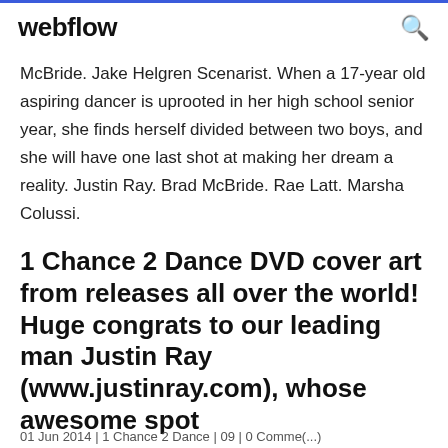webflow
McBride. Jake Helgren Scenarist. When a 17-year old aspiring dancer is uprooted in her high school senior year, she finds herself divided between two boys, and she will have one last shot at making her dream a reality. Justin Ray. Brad McBride. Rae Latt. Marsha Colussi.
1 Chance 2 Dance DVD cover art from releases all over the world! Huge congrats to our leading man Justin Ray (www.justinray.com), whose awesome spot
01 Jun 2014 | 1 Chance 2 Dance | 09 | 0 Comme(...)